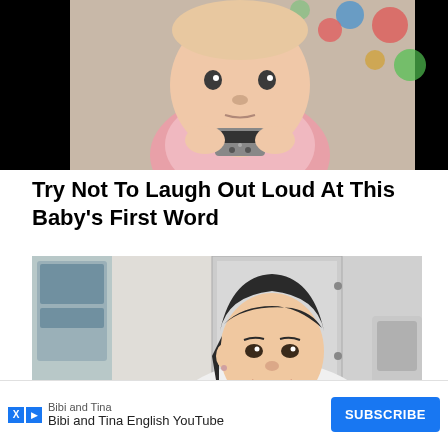[Figure (photo): A baby in a pink outfit sitting in a high chair, holding a TV remote control, looking at the camera. Black bars on left and right.]
Try Not To Laugh Out Loud At This Baby's First Word
[Figure (photo): A smiling Asian woman in a white lab coat or jacket, leaning forward, photographed in what appears to be a laboratory or kitchen setting.]
Bibi and Tina
Bibi and Tina English YouTube
SUBSCRIBE